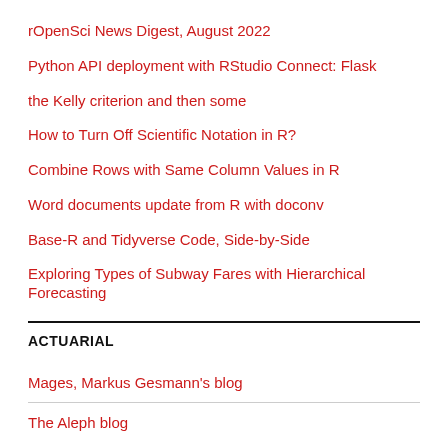rOpenSci News Digest, August 2022
Python API deployment with RStudio Connect: Flask
the Kelly criterion and then some
How to Turn Off Scientific Notation in R?
Combine Rows with Same Column Values in R
Word documents update from R with doconv
Base-R and Tidyverse Code, Side-by-Side
Exploring Types of Subway Fares with Hierarchical Forecasting
ACTUARIAL
Mages, Markus Gesmann's blog
The Aleph blog